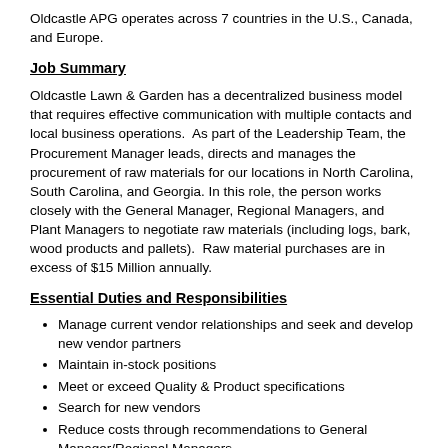Oldcastle APG operates across 7 countries in the U.S., Canada, and Europe.
Job Summary
Oldcastle Lawn & Garden has a decentralized business model that requires effective communication with multiple contacts and local business operations. As part of the Leadership Team, the Procurement Manager leads, directs and manages the procurement of raw materials for our locations in North Carolina, South Carolina, and Georgia. In this role, the person works closely with the General Manager, Regional Managers, and Plant Managers to negotiate raw materials (including logs, bark, wood products and pallets). Raw material purchases are in excess of $15 Million annually.
Essential Duties and Responsibilities
Manage current vendor relationships and seek and develop new vendor partners
Maintain in-stock positions
Meet or exceed Quality & Product specifications
Search for new vendors
Reduce costs through recommendations to General Manager/Regional Managers
Research alternative material solutions to traditional materials
Be highly responsive to unexpected and unplanned events